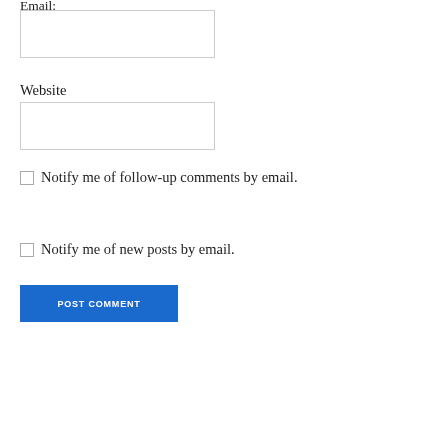Email:
(text input box)
Website
(text input box)
Notify me of follow-up comments by email.
Notify me of new posts by email.
POST COMMENT